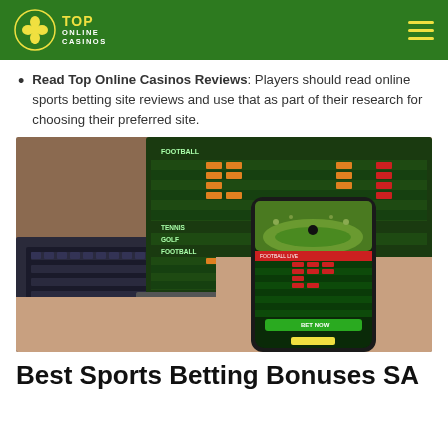TOP ONLINE CASINOS
Read Top Online Casinos Reviews: Players should read online sports betting site reviews and use that as part of their research for choosing their preferred site.
[Figure (photo): Person holding a smartphone showing a sports betting app interface with green background, in front of a laptop also displaying a sports betting website with football and other sports categories listed.]
Best Sports Betting Bonuses SA